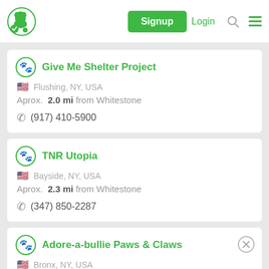Signup  Login
Give Me Shelter Project
Flushing, NY, USA
Aprox.  2.0 mi from Whitestone
(917) 410-5900
TNR Utopia
Bayside, NY, USA
Aprox.  2.3 mi from Whitestone
(347) 850-2287
Adore-a-bullie Paws & Claws
Bronx, NY, USA
Aprox.  4.1 mi from Whitestone
Not Provided